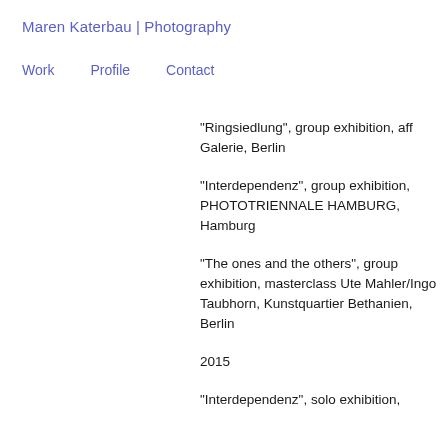Maren Katerbau | Photography
Work   Profile   Contact
“Ringsiedlung”, group exhibition, aff Galerie, Berlin
“Interdependenz”, group exhibition, PHOTOTRIENNALE HAMBURG, Hamburg
“The ones and the others”, group exhibition, masterclass Ute Mahler/Ingo Taubhorn, Kunstquartier Bethanien, Berlin
2015
“Interdependenz”, solo exhibition,